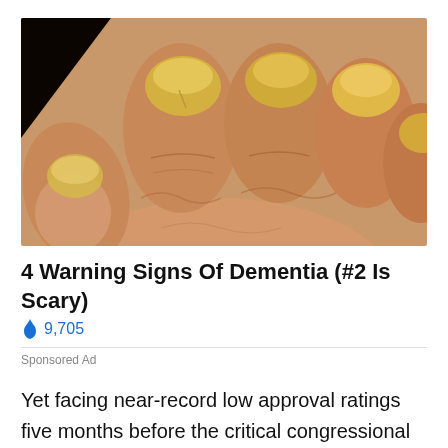[Figure (photo): Close-up photo of several fingers/hand showing yellowed, discolored fingernails suggesting a medical condition]
4 Warning Signs Of Dementia (#2 Is Scary)
🔥 9,705
Sponsored Ad
Yet facing near-record low approval ratings five months before the critical congressional contests, the President has determined another concentrated focus on Americans' bottom line is necessary to demonstrate his attention on the